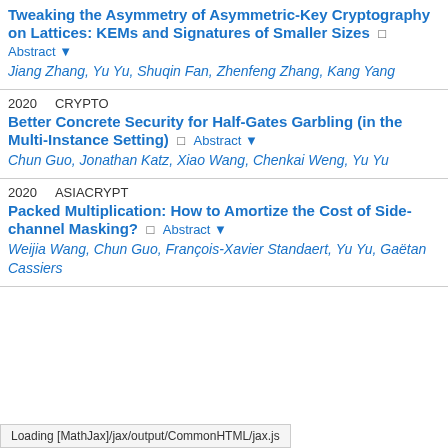Tweaking the Asymmetry of Asymmetric-Key Cryptography on Lattices: KEMs and Signatures of Smaller Sizes — Abstract ▼ — Jiang Zhang, Yu Yu, Shuqin Fan, Zhenfeng Zhang, Kang Yang
2020 CRYPTO — Better Concrete Security for Half-Gates Garbling (in the Multi-Instance Setting) — Abstract ▼ — Chun Guo, Jonathan Katz, Xiao Wang, Chenkai Weng, Yu Yu
2020 ASIACRYPT — Packed Multiplication: How to Amortize the Cost of Side-channel Masking? — Abstract ▼ — Weijia Wang, Chun Guo, François-Xavier Standaert, Yu Yu, Gaëtan Cassiers
Loading [MathJax]/jax/output/CommonHTML/jax.js